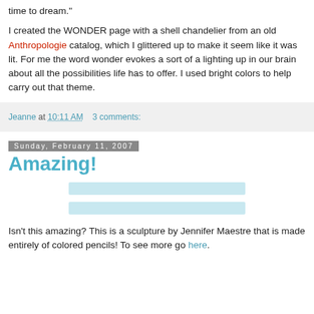time to dream."
I created the WONDER page with a shell chandelier from an old Anthropologie catalog, which I glittered up to make it seem like it was lit. For me the word wonder evokes a sort of a lighting up in our brain about all the possibilities life has to offer. I used bright colors to help carry out that theme.
Jeanne at 10:11 AM    3 comments:
Sunday, February 11, 2007
Amazing!
[Figure (other): Image placeholder bar 1]
[Figure (other): Image placeholder bar 2]
Isn't this amazing? This is a sculpture by Jennifer Maestre that is made entirely of colored pencils! To see more go here.